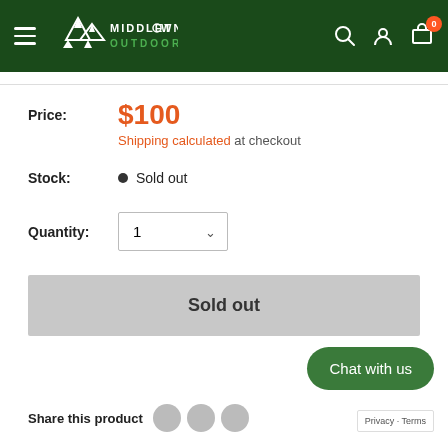Middletown Outdoors — navigation header with hamburger menu, logo, search, account, cart (0)
Price: $100
Shipping calculated at checkout
Stock: ● Sold out
Quantity: 1
Sold out
Chat with us
Share this product